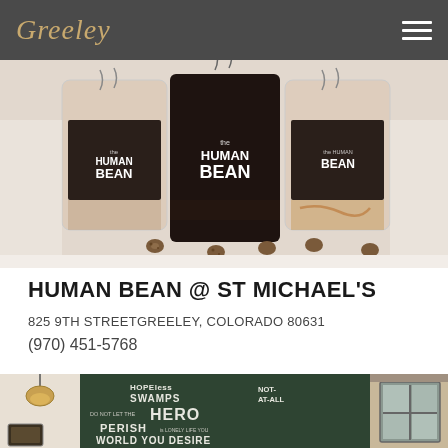Greeley
[Figure (photo): Three Human Bean branded coffee cups — two iced drinks in clear plastic cups and one hot drink in a black paper cup — arranged on a white surface with small chocolate eggs scattered around them.]
HUMAN BEAN @ ST MICHAEL'S
825 9TH STREETGREELEY, COLORADO 80631
(970) 451-5768
[Figure (photo): Interior of the Human Bean cafe at St Michael's showing a chalkboard wall with inspirational text including 'HOPELESS SWAMPS', 'DO NOT LET THE HERO', 'PERISH', 'WORLD YOU DESIRE', and 'NOT AT ALL'. A decorative pendant lamp hangs from ceiling.]